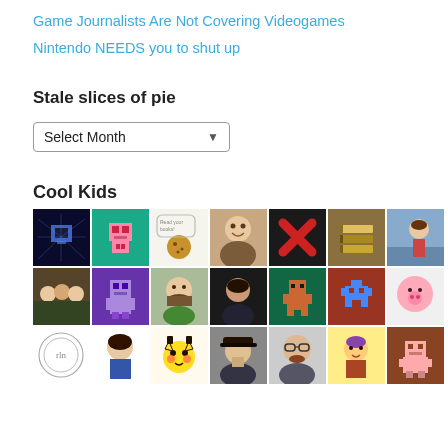Game Journalists Are Not Covering Videogames
Nintendo NEEDS you to shut up
Stale slices of pie
Select Month
Cool Kids
[Figure (illustration): Grid of avatar/profile images for 'Cool Kids' section, 3 rows of 7 avatar thumbnails each showing various cartoon, pixel art, and photo avatars]